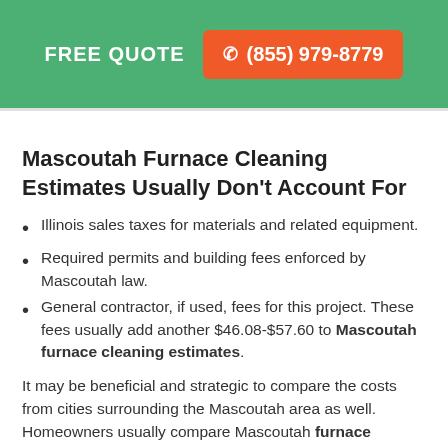FREE QUOTE  ☎ (855) 979-8779
Mascoutah Furnace Cleaning Estimates Usually Don't Account For
Illinois sales taxes for materials and related equipment.
Required permits and building fees enforced by Mascoutah law.
General contractor, if used, fees for this project. These fees usually add another $46.08-$57.60 to Mascoutah furnace cleaning estimates.
It may be beneficial and strategic to compare the costs from cities surrounding the Mascoutah area as well. Homeowners usually compare Mascoutah furnace